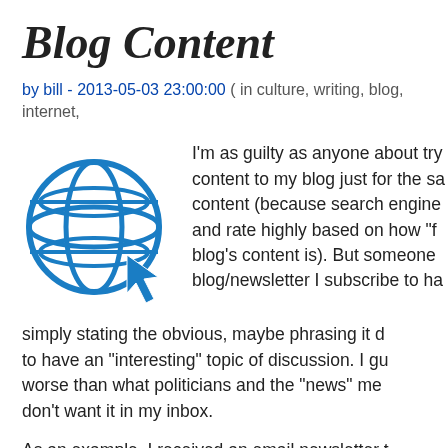Blog Content
by bill - 2013-05-03 23:00:00 ( in culture, writing, blog, internet,
[Figure (illustration): Blue globe icon with a cursor/arrow pointer overlaid on it, representing internet/web browsing]
I'm as guilty as anyone about trying to add content to my blog just for the sake of more content (because search engines love and rate highly based on how "fresh" a blog's content is). But someone in a blog/newsletter I subscribe to has been simply stating the obvious, maybe phrasing it differently, to have an "interesting" topic of discussion. I guess it's no worse than what politicians and the "news" media do, but I don't want it in my inbox.
As an example, I received an email newsletter today talking about blog stats and how they should be used and how bloggers just don't appreciate them as they should. "Did you know" the article began, "if you track your